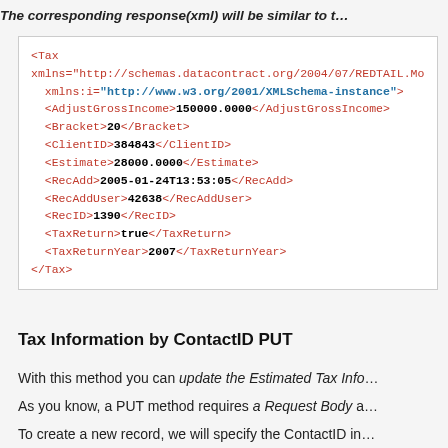The corresponding response(xml) will be similar to t…
<Tax xmlns="http://schemas.datacontract.org/2004/07/REDTAIL.Mo…
  xmlns:i="http://www.w3.org/2001/XMLSchema-instance">
  <AdjustGrossIncome>150000.0000</AdjustGrossIncome>
  <Bracket>20</Bracket>
  <ClientID>384843</ClientID>
  <Estimate>28000.0000</Estimate>
  <RecAdd>2005-01-24T13:53:05</RecAdd>
  <RecAddUser>42638</RecAddUser>
  <RecID>1390</RecID>
  <TaxReturn>true</TaxReturn>
  <TaxReturnYear>2007</TaxReturnYear>
</Tax>
Tax Information by ContactID PUT
With this method you can update the Estimated Tax Info…
As you know, a PUT method requires a Request Body a…
To create a new record, we will specify the ContactID in…